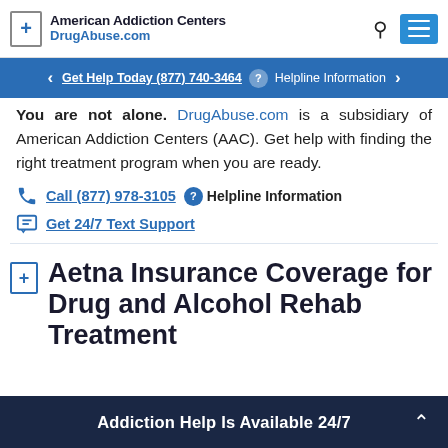American Addiction Centers DrugAbuse.com
Get Help Today (877) 740-3464  Helpline Information
You are not alone. DrugAbuse.com is a subsidiary of American Addiction Centers (AAC). Get help with finding the right treatment program when you are ready.
Call (877) 978-3105  Helpline Information
Get 24/7 Text Support
Aetna Insurance Coverage for Drug and Alcohol Rehab Treatment
Addiction Help Is Available 24/7